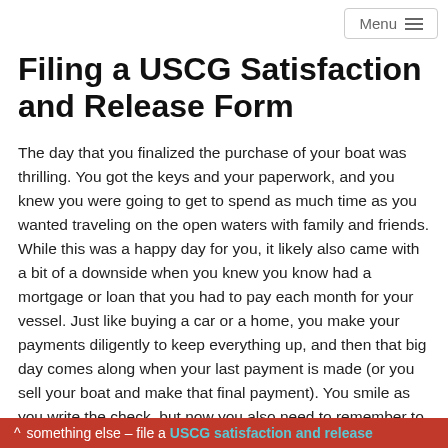Menu
Filing a USCG Satisfaction and Release Form
The day that you finalized the purchase of your boat was thrilling. You got the keys and your paperwork, and you knew you were going to get to spend as much time as you wanted traveling on the open waters with family and friends. While this was a happy day for you, it likely also came with a bit of a downside when you knew you know had a mortgage or loan that you had to pay each month for your vessel. Just like buying a car or a home, you make your payments diligently to keep everything up, and then that big day comes along when your last payment is made (or you sell your boat and make that final payment). You smile as you write the check, but now you also need to remember to do something else – file a USCG satisfaction and release
^ something else – file a USCG satisfaction and release